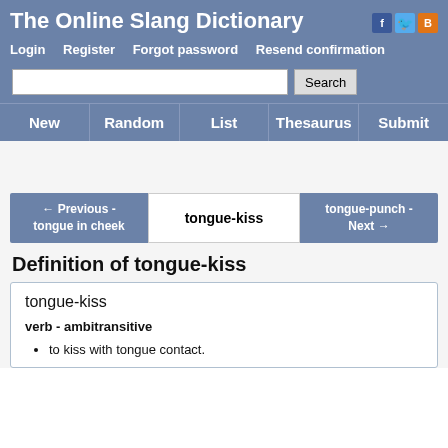The Online Slang Dictionary
Login   Register   Forgot password   Resend confirmation
New   Random   List   Thesaurus   Submit
← Previous - tongue in cheek   tongue-kiss   tongue-punch - Next →
Definition of tongue-kiss
tongue-kiss

verb - ambitransitive

• to kiss with tongue contact.